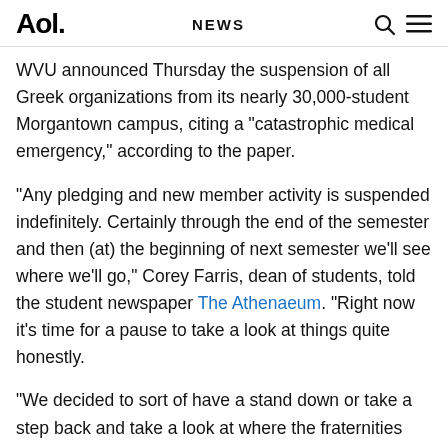Aol. NEWS
WVU announced Thursday the suspension of all Greek organizations from its nearly 30,000-student Morgantown campus, citing a "catastrophic medical emergency," according to the paper.
"Any pledging and new member activity is suspended indefinitely. Certainly through the end of the semester and then (at) the beginning of next semester we'll see where we'll go," Corey Farris, dean of students, told the student newspaper The Athenaeum. "Right now it's time for a pause to take a look at things quite honestly.
"We decided to sort of have a stand down or take a step back and take a look at where the fraternities and sororities have been recently and where they're going in the future," Farris continued. "The moratorium is in